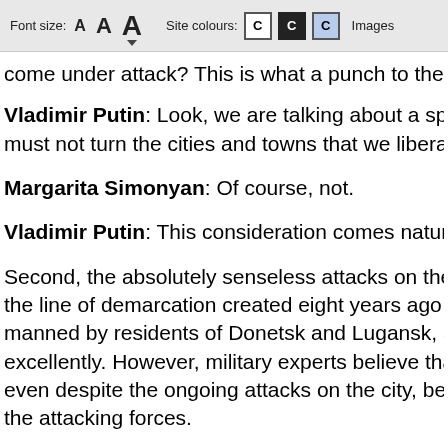Font size: A A A   Site colours: C C C   Images
come under attack? This is what a punch to the ja
Vladimir Putin: Look, we are talking about a spec must not turn the cities and towns that we liberate
Margarita Simonyan: Of course, not.
Vladimir Putin: This consideration comes natural
Second, the absolutely senseless attacks on the r the line of demarcation created eight years ago is manned by residents of Donetsk and Lugansk, are excellently. However, military experts believe that even despite the ongoing attacks on the city, beca the attacking forces.
So, their tactics are different, as you can see. This